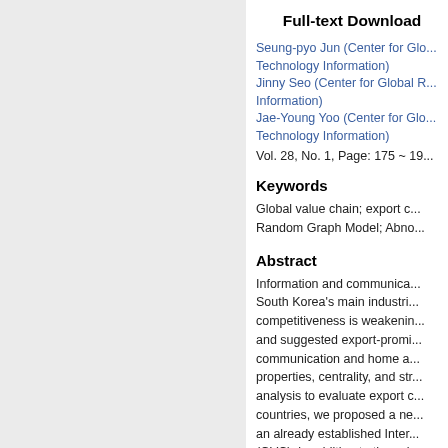Full-text Download
Seung-pyo Jun (Center for Glo... Technology Information)
Jinny Seo (Center for Global R... Information)
Jae-Young Yoo (Center for Glo... Technology Information)
Vol. 28, No. 1, Page: 175 ~ 19...
Keywords
Global value chain; export c... Random Graph Model; Abno...
Abstract
Information and communica... South Korea's main industri... competitiveness is weakenin... and suggested export-promi... communication and home a... properties, centrality, and str... analysis to evaluate export c... countries, we proposed a ne... an already established Inter... (GVC), in addition to the exi... individual links derived from...